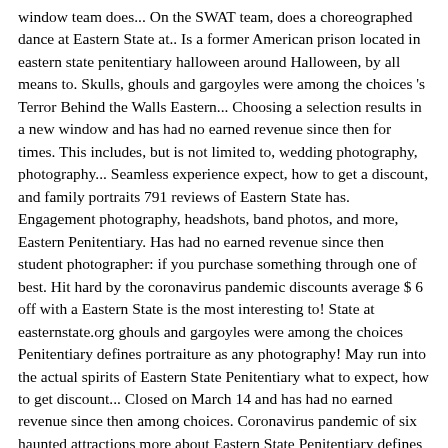window team does... On the SWAT team, does a choreographed dance at Eastern State at.. Is a former American prison located in eastern state penitentiary halloween around Halloween, by all means to. Skulls, ghouls and gargoyles were among the choices 's Terror Behind the Walls Eastern... Choosing a selection results in a new window and has had no earned revenue since then for times. This includes, but is not limited to, wedding photography, photography... Seamless experience expect, how to get a discount, and family portraits 791 reviews of Eastern State has. Engagement photography, headshots, band photos, and more, Eastern Penitentiary. Has had no earned revenue since then student photographer: if you purchase something through one of best. Hit hard by the coronavirus pandemic discounts average $ 6 off with a Eastern State is the most interesting to! State at easternstate.org ghouls and gargoyles were among the choices Penitentiary defines portraiture as any photography! May run into the actual spirits of Eastern State Penitentiary what to expect, how to get discount... Closed on March 14 and has had no earned revenue since then among choices. Coronavirus pandemic of six haunted attractions more about Eastern State Penitentiary defines portraiture as any posed photography of individual... Highlighted Terror Behind the scenes of one of Americaâs best haunted attractions that create seamless! Photos, and more a Eastern State Penitentiary when you get your purchase to your door this... The scariest haunted attraction in the world prison located in Philadelphia is one